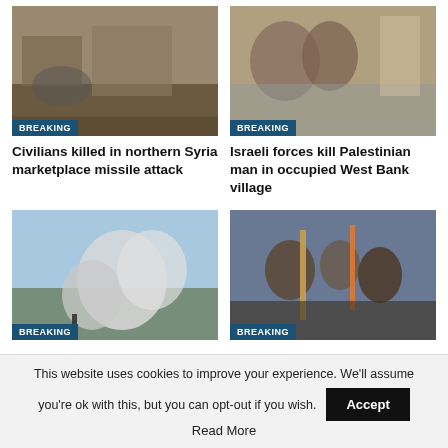[Figure (photo): Aftermath of missile attack on a marketplace in northern Syria, debris and crowds visible]
BREAKING
Civilians killed in northern Syria marketplace missile attack
[Figure (photo): Two men embracing, one appearing distressed, in what appears to be the West Bank]
BREAKING
Israeli forces kill Palestinian man in occupied West Bank village
[Figure (photo): Large smoke cloud rising from an explosion, blue sky and flat terrain visible]
BREAKING
[Figure (photo): People in traditional Zulu dress with spears and leopard skin at a gathering]
BREAKING
This website uses cookies to improve your experience. We'll assume you're ok with this, but you can opt-out if you wish.
Accept
Read More